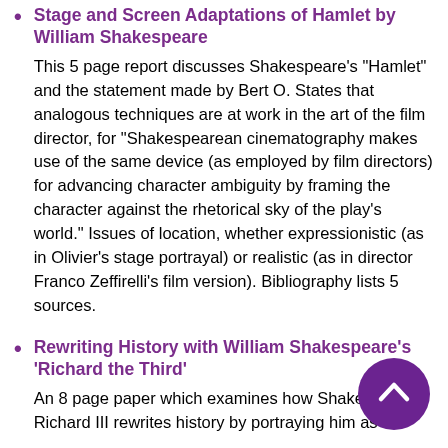Stage and Screen Adaptations of Hamlet by William Shakespeare
This 5 page report discusses Shakespeare's "Hamlet" and the statement made by Bert O. States that analogous techniques are at work in the art of the film director, for "Shakespearean cinematography makes use of the same device (as employed by film directors) for advancing character ambiguity by framing the character against the rhetorical sky of the play's world." Issues of location, whether expressionistic (as in Olivier's stage portrayal) or realistic (as in director Franco Zeffirelli's film version). Bibliography lists 5 sources.
Rewriting History with William Shakespeare's 'Richard the Third'
An 8 page paper which examines how Shakespeare's Richard III rewrites history by portraying him as